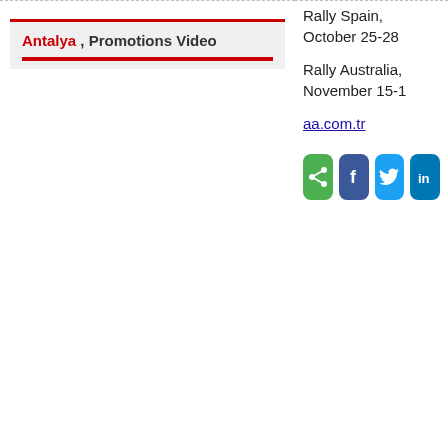Rally Spain, October 25-28
Rally Australia, November 15-1
aa.com.tr
Antalya , Promotions Video
[Figure (other): Social sharing buttons: share (green), Facebook (dark blue), Twitter (light blue), LinkedIn (blue)]